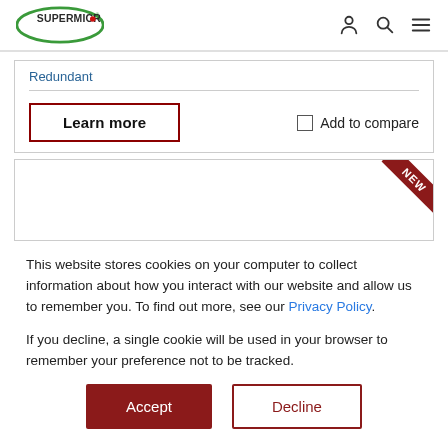Supermicro
Redundant
Learn more
Add to compare
[Figure (other): New product card with NEW badge in top-right corner]
This website stores cookies on your computer to collect information about how you interact with our website and allow us to remember you. To find out more, see our Privacy Policy.

If you decline, a single cookie will be used in your browser to remember your preference not to be tracked.
Accept
Decline